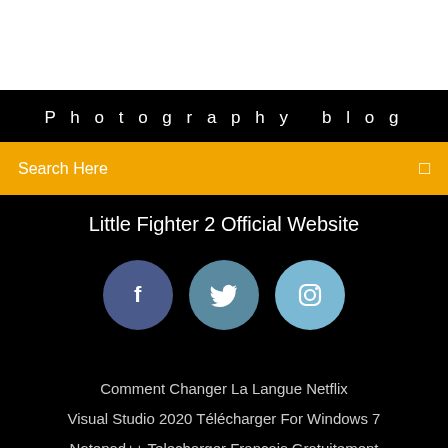[Figure (screenshot): White top area of webpage]
Photography blog
Search Here
Little Fighter 2 Official Website
[Figure (illustration): Three social media icons: Facebook (dark blue circle), Twitter (medium blue circle), Instagram (light blue circle)]
Comment Changer La Langue Netflix
Visual Studio 2020 Télécharger For Windows 7
Notepad++ Telecharger Francais Gratuitement